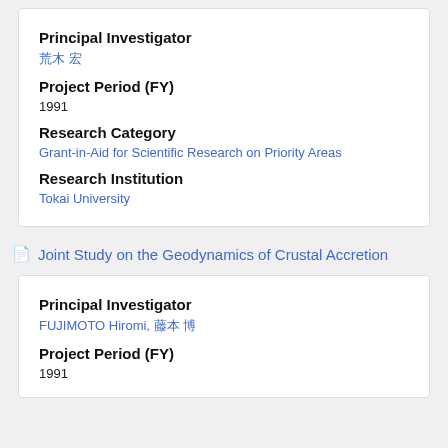Principal Investigator
荒 木
Project Period (FY)
1991
Research Category
Grant-in-Aid for Scientific Research on Priority Areas
Research Institution
Tokai University
Joint Study on the Geodynamics of Crustal Accretion
Principal Investigator
FUJIMOTO Hiromi, 藤 本
Project Period (FY)
1991